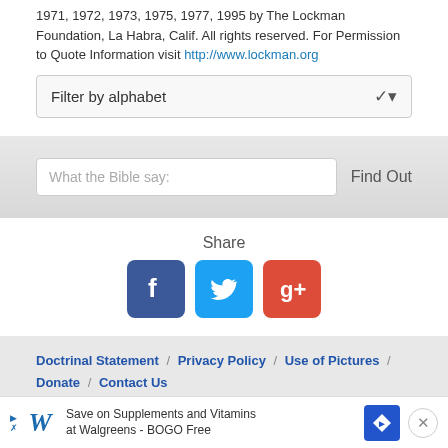1971, 1972, 1973, 1975, 1977, 1995 by The Lockman Foundation, La Habra, Calif. All rights reserved. For Permission to Quote Information visit http://www.lockman.org
[Figure (screenshot): Filter by alphabet dropdown selector]
[Figure (screenshot): What the Bible says search input with Find Out button]
Share
[Figure (infographic): Social share icons: Facebook, Twitter, Google+]
Doctrinal Statement / Privacy Policy / Use of Pictures / Donate / Contact Us
© Copyright [2011 - 2022] Knowing-Jesus.com - All Rights Reserved
[Figure (screenshot): Advertisement banner: Save on Supplements and Vitamins at Walgreens - BOGO Free]